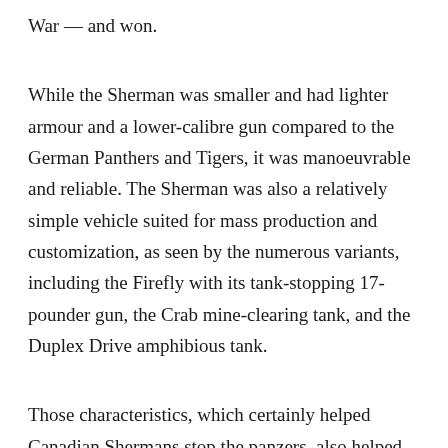War — and won.
While the Sherman was smaller and had lighter armour and a lower-calibre gun compared to the German Panthers and Tigers, it was manoeuvrable and reliable. The Sherman was also a relatively simple vehicle suited for mass production and customization, as seen by the numerous variants, including the Firefly with its tank-stopping 17-pounder gun, the Crab mine-clearing tank, and the Duplex Drive amphibious tank.
Those characteristics, which certainly helped Canadian Shermans stop the panzers, also helped to make the Sherman “one of the most recognizable” and “widely produced” according to Michael Haskew in his M…